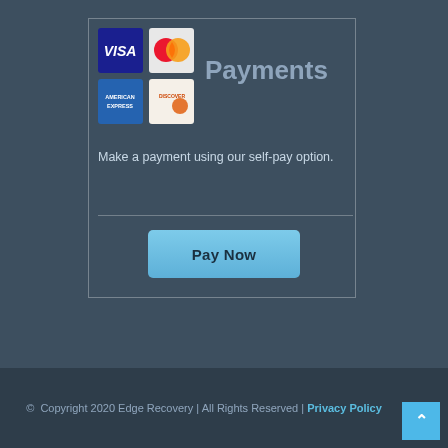[Figure (illustration): Credit card payment logos: Visa, MasterCard, American Express, Discover arranged in a 2x2 grid]
Payments
Make a payment using our self-pay option.
[Figure (other): Pay Now button - a light blue rounded rectangle button with bold text 'Pay Now']
© Copyright 2020 Edge Recovery | All Rights Reserved | Privacy Policy